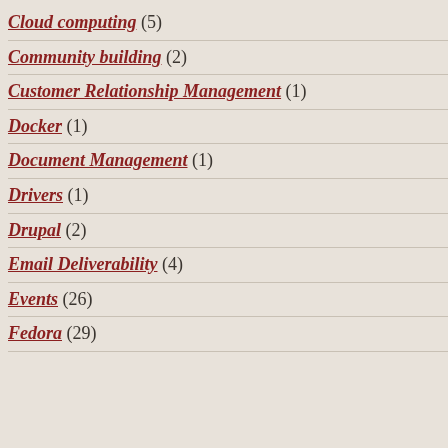Cloud computing (5)
Community building (2)
Customer Relationship Management (1)
Docker (1)
Document Management (1)
Drivers (1)
Drupal (2)
Email Deliverability (4)
Events (26)
Fedora (29)